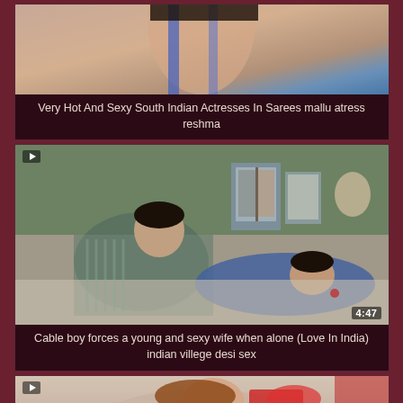[Figure (screenshot): Video thumbnail showing South Indian actress in saree, partially visible, cropped at top]
Very Hot And Sexy South Indian Actresses In Sarees mallu atress reshma
[Figure (screenshot): Video thumbnail showing bedroom scene, duration 4:47, with play icon, two people on a bed with framed photos visible in background]
Cable boy forces a young and sexy wife when alone (Love In India) indian villege desi sex
[Figure (screenshot): Video thumbnail showing a woman with red accessories, duration 5:05, partially visible at bottom of page]